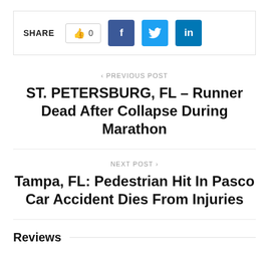[Figure (other): Social share bar with SHARE label, like button showing 0, and Facebook, Twitter, LinkedIn buttons]
< PREVIOUS POST
ST. PETERSBURG, FL – Runner Dead After Collapse During Marathon
NEXT POST >
Tampa, FL: Pedestrian Hit In Pasco Car Accident Dies From Injuries
Reviews